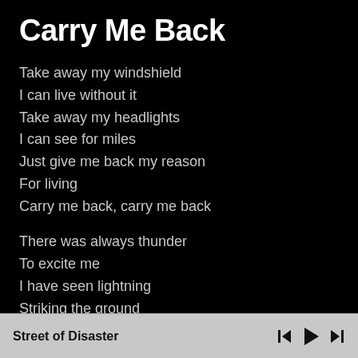Carry Me Back
Take away my windshield
I can live without it
Take away my headlights
I can see for miles
Just give me back my reason
For living
Carry me back, carry me back
There was always thunder
To excite me
I have seen lightning
Striking the ground
I just need some comfort
From this moment
Street of Disaster